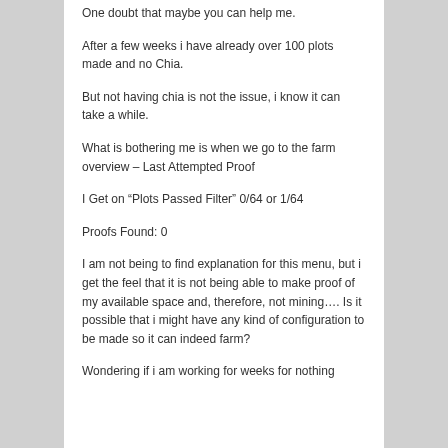One doubt that maybe you can help me.
After a few weeks i have already over 100 plots made and no Chia.
But not having chia is not the issue, i know it can take a while.
What is bothering me is when we go to the farm overview – Last Attempted Proof
I Get on “Plots Passed Filter” 0/64 or 1/64
Proofs Found: 0
I am not being to find explanation for this menu, but i get the feel that it is not being able to make proof of my available space and, therefore, not mining…. Is it possible that i might have any kind of configuration to be made so it can indeed farm?
Wondering if i am working for weeks for nothing